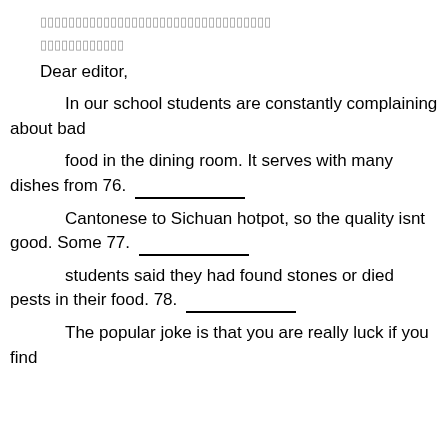▯▯▯▯▯▯▯▯▯▯▯▯▯▯▯▯▯▯▯▯▯▯▯▯▯▯▯▯▯▯▯▯▯
▯▯▯▯▯▯▯▯▯▯▯▯
Dear editor,
In our school students are constantly complaining about bad
food in the dining room. It serves with many dishes from 76. _______________
Cantonese to Sichuan hotpot, so the quality isnt good. Some 77. _______________
students said they had found stones or died pests in their food. 78. _______________
The popular joke is that you are really luck if you find